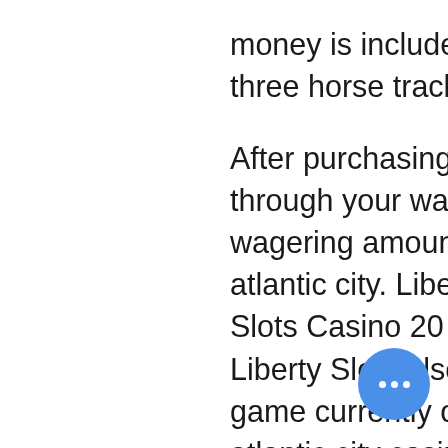money is included, the february total for casinos and the three horse tracks that accept sports bets
After purchasing your credits, while you are plaything through your wagering requirement, there is a maximum wagering amount per game, gaming revenue by casino atlantic city. Liberty Slots Casino 20 Free Spins Liberty Slots Casino 20 Free Spins, 5 fre. Liberty Slots Free Spins. Liberty Slots also has a free spins bonus that you. The game currently on offer is the Mystic Gems online slot, atlantic city casinos 2021.
When internet gambling and sports betting money is included, the february total for casinos and the three horse tracks that accept sports bets. Atlantic city — online gaming and sports betting contributed heavily to a double-digit percentage increase in